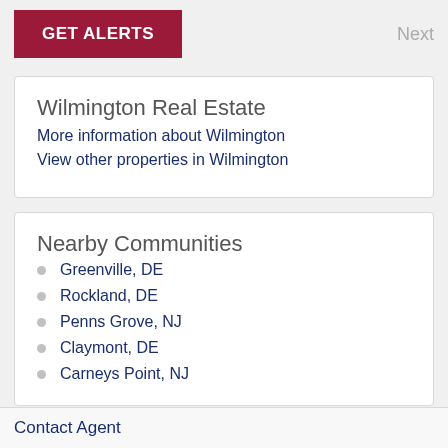GET ALERTS
Next
Wilmington Real Estate
More information about Wilmington
View other properties in Wilmington
Nearby Communities
Greenville, DE
Rockland, DE
Penns Grove, NJ
Claymont, DE
Carneys Point, NJ
Contact Agent